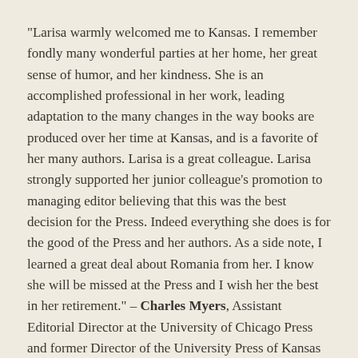“Larisa warmly welcomed me to Kansas. I remember fondly many wonderful parties at her home, her great sense of humor, and her kindness. She is an accomplished professional in her work, leading adaptation to the many changes in the way books are produced over her time at Kansas, and is a favorite of her many authors. Larisa is a great colleague. Larisa strongly supported her junior colleague’s promotion to managing editor believing that this was the best decision for the Press. Indeed everything she does is for the good of the Press and her authors. As a side note, I learned a great deal about Romania from her. I know she will be missed at the Press and I wish her the best in her retirement.” – Charles Myers, Assistant Editorial Director at the University of Chicago Press and former Director of the University Press of Kansas
“Despite having lived in Romania when it was part of the